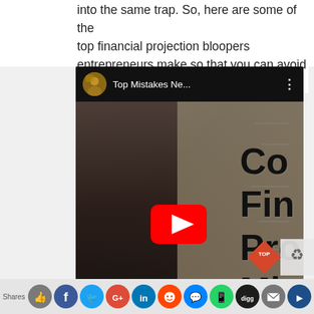into the same trap. So, here are some of the top financial projection bloopers entrepreneurs make so that you can avoid them as you build your own pro formas.
[Figure (screenshot): Embedded YouTube video thumbnail showing a woman on screen with text overlay partially visible reading 'Co Fin Pro Mi' and a YouTube play button. The video title bar shows 'Top Mistakes Ne...' with a channel avatar.]
Shares [social share buttons: like, facebook, twitter, google+, linkedin, reddit, messenger, whatsapp, digg, email, flipboard]